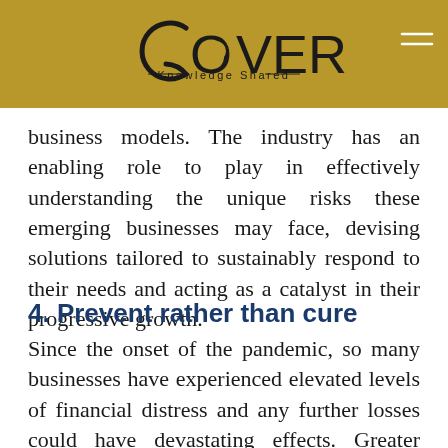COVER Knowledge Shared
business models. The industry has an enabling role to play in effectively understanding the unique risks these emerging businesses may face, devising solutions tailored to sustainably respond to their needs and acting as a catalyst in their progressive growth.
4. Prevent rather than cure
Since the onset of the pandemic, so many businesses have experienced elevated levels of financial distress and any further losses could have devastating effects. Greater prudence and risk prevention will come into sharper focus to